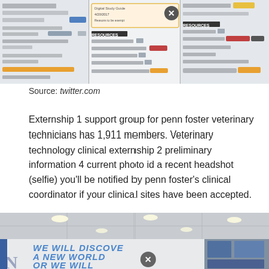[Figure (screenshot): Screenshot of an online learning platform showing course materials, study guides, community links, lab animal science community, close button overlay, and course evaluation survey.]
Source: twitter.com
Externship 1 support group for penn foster veterinary technicians has 1,911 members. Veterinary technology clinical externship 2 preliminary information 4 current photo id a recent headshot (selfie) you’ll be notified by penn foster’s clinical coordinator if your clinical sites have been accepted.
[Figure (photo): Interior hallway or lobby with white ceiling, recessed lights, and a large wall mural with the text 'WE WILL DISCOVER A NEW WORLD OR WE WILL' displayed in bold blue letters. Photo collage on the right wall. A close/dismiss button overlay is visible.]